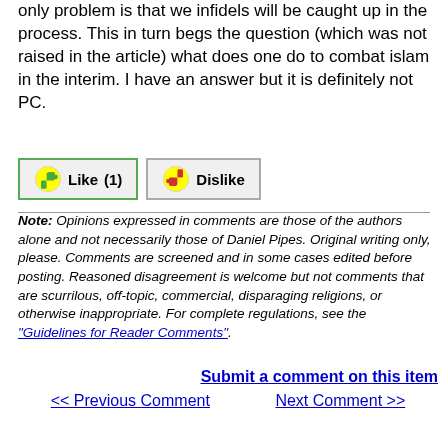only problem is that we infidels will be caught up in the process. This in turn begs the question (which was not raised in the article) what does one do to combat islam in the interim. I have an answer but it is definitely not PC.
[Figure (other): Like (1) and Dislike buttons with thumbs up/down icons]
Note: Opinions expressed in comments are those of the authors alone and not necessarily those of Daniel Pipes. Original writing only, please. Comments are screened and in some cases edited before posting. Reasoned disagreement is welcome but not comments that are scurrilous, off-topic, commercial, disparaging religions, or otherwise inappropriate. For complete regulations, see the "Guidelines for Reader Comments".
Submit a comment on this item
<< Previous Comment    Next Comment >>
Reader comments (176) on this item